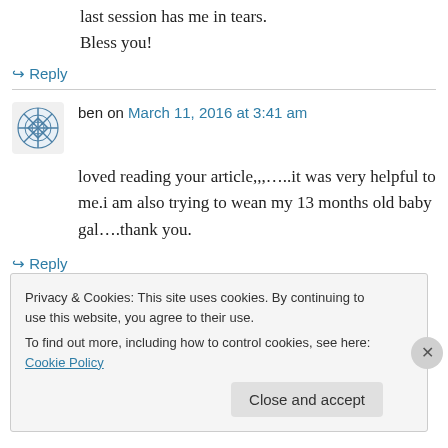last session has me in tears. Bless you!
↪ Reply
ben on March 11, 2016 at 3:41 am
loved reading your article,,,…..it was very helpful to me.i am also trying to wean my 13 months old baby gal….thank you.
↪ Reply
Privacy & Cookies: This site uses cookies. By continuing to use this website, you agree to their use. To find out more, including how to control cookies, see here: Cookie Policy
Close and accept